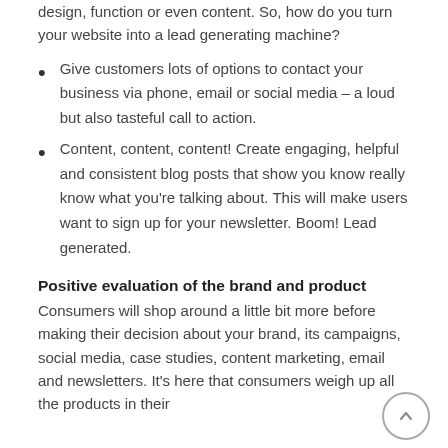design, function or even content. So, how do you turn your website into a lead generating machine?
Give customers lots of options to contact your business via phone, email or social media – a loud but also tasteful call to action.
Content, content, content! Create engaging, helpful and consistent blog posts that show you know really know what you're talking about. This will make users want to sign up for your newsletter. Boom! Lead generated.
Positive evaluation of the brand and product
Consumers will shop around a little bit more before making their decision about your brand, its campaigns, social media, case studies, content marketing, email and newsletters. It's here that consumers weigh up all the products in their